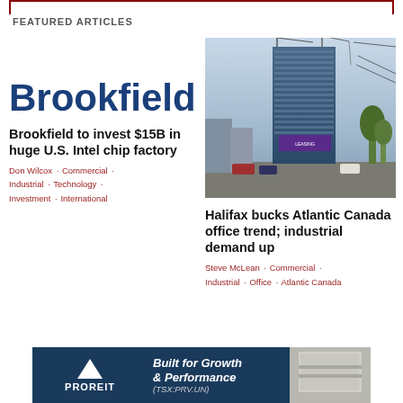FEATURED ARTICLES
[Figure (logo): Brookfield wordmark in large bold dark blue text]
Brookfield to invest $15B in huge U.S. Intel chip factory
Don Wilcox · Commercial · Industrial · Technology · Investment · International
[Figure (photo): Construction photo of a tall glass office tower with cranes in Halifax]
Halifax bucks Atlantic Canada office trend; industrial demand up
Steve McLean · Commercial · Industrial · Office · Atlantic Canada
[Figure (infographic): PROREIT advertisement banner: Built for Growth & Performance (TSX:PRV.UN)]